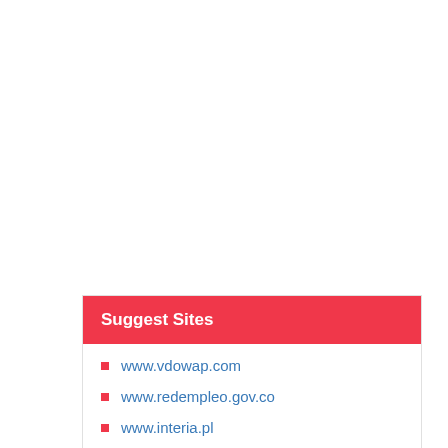Suggest Sites
www.vdowap.com
www.redempleo.gov.co
www.interia.pl
www.tubezen.com
www.ekoreantv.com